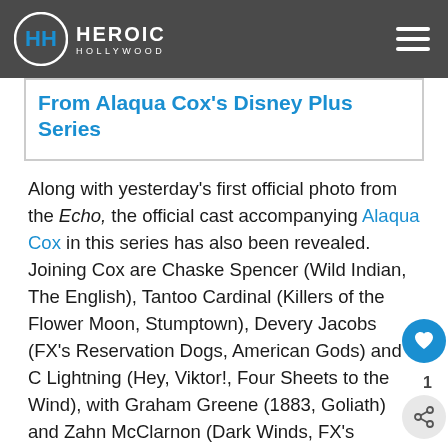Heroic Hollywood
From Alaqua Cox's Disney Plus Series
Along with yesterday's first official photo from the Echo, the official cast accompanying Alaqua Cox in this series has also been revealed. Joining Cox are Chaske Spencer (Wild Indian, The English), Tantoo Cardinal (Killers of the Flower Moon, Stumptown), Devery Jacobs (FX's Reservation Dogs, American Gods) and C Lightning (Hey, Viktor!, Four Sheets to the Wind), with Graham Greene (1883, Goliath) and Zahn McClarnon (Dark Winds, FX's Reservation Dogs).